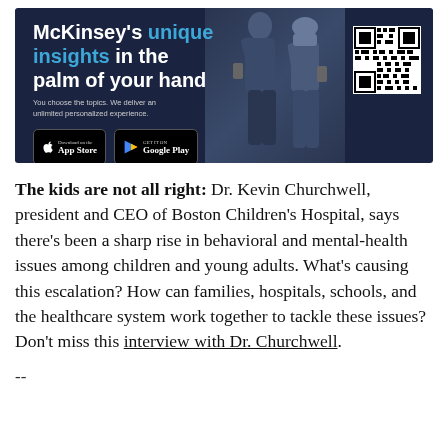[Figure (infographic): McKinsey app advertisement banner on dark navy background. Text reads 'McKinsey's unique insights in the palm of your hand' with 'unique insights' in blue. Subtext: 'You choose the topics. We deliver an unlimited personalized experience.' App Store and Google Play download buttons. QR code in top right. Two people (man and woman) looking at phones on the right side.]
The kids are not all right: Dr. Kevin Churchwell, president and CEO of Boston Children's Hospital, says there's been a sharp rise in behavioral and mental-health issues among children and young adults. What's causing this escalation? How can families, hospitals, schools, and the healthcare system work together to tackle these issues? Don't miss this interview with Dr. Churchwell.
--